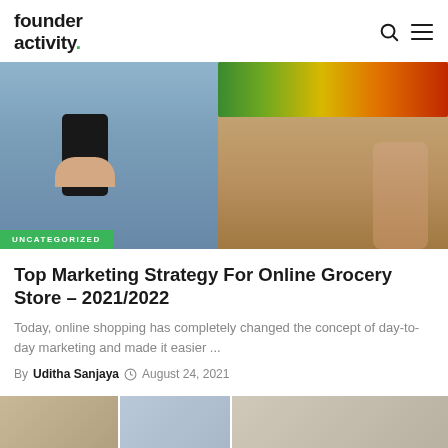founder activity.
[Figure (photo): Woman holding phone in one hand and grocery bag filled with produce in the other, with UNCATEGORIZED badge overlay]
Top Marketing Strategy For Online Grocery Store – 2021/2022
Today, online shopping has completely changed the concept of day-to-day marketing and made it easier ...
By Uditha Sanjaya   August 24, 2021
[Figure (photo): Partial bottom strip showing another article image]